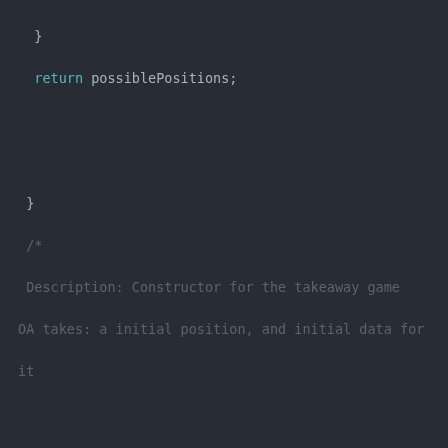[Figure (screenshot): Code editor screenshot showing C++ code with dark theme. Contains a return statement, a block comment describing a takeaway game constructor, a constructor definition with an error comment, and a destructor definition with an error comment.]